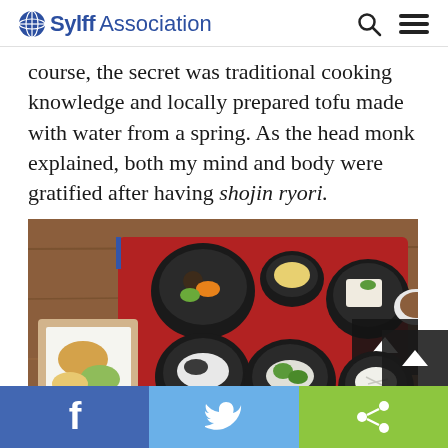Sylff Association
course, the secret was traditional cooking knowledge and locally prepared tofu made with water from a spring. As the head monk explained, both my mind and body were gratified after having shojin ryori.
[Figure (photo): Overhead view of a shojin ryori meal set on a red lacquered tray with multiple black bowls containing various vegetarian dishes including tofu, vegetables, and tempura, served on a wooden table.]